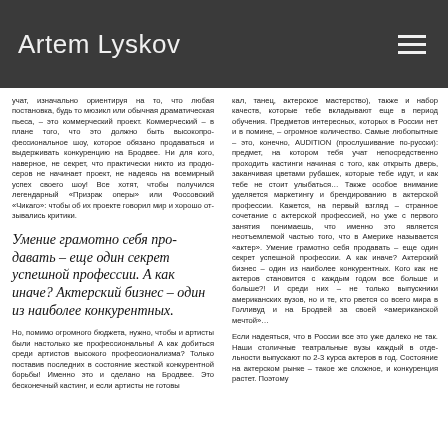Artem Lyskov
учат, изначально ориентируя на то, что любая постановка, будь то мюзикл или обычная драматическая пьеса, – это коммерческий проект. Коммерческий – в плане того, что это должно быть высокопрофессиональное шоу, которое обязано продаваться и выдерживать конкуренцию на Бродвее. Ни для кого, наверное, не секрет, что практически никто из продюсеров не начинает проект, не надеясь на всемирный успех своего шоу! Все хотят, чтобы получился легендарный «Призрак оперы» или Фоссовский «Чикаго»: чтобы об их проекте говорил мир и хорошо отзывались критики.
Умение грамотно себя продавать – еще один секрет успешной профессии. А как иначе? Актерский бизнес – один из наиболее конкурентных.
Но, помимо огромного бюджета, нужно, чтобы и артисты были настолько же профессиональны! А как добиться среди артистов высокого профессионализма? Только поставив последних в состояние жесткой конкурентной борьбы! Именно это и сделано на Бродвее. Это бесконечный кастинг, и если артисты не готовы
кал, танец, актерское мастерство), также и набор качеств, которые тебе вкладывают еще в период обучения. Предметов интересных, которых в России нет и в помине, – огромное количество. Самые любопытные – это, конечно, AUDITION (прослушивание по-русски): предмет, на котором тебя учат непосредственно проходить кастинги начиная с того, как открыть дверь, заканчивая цветами рубашек, которые тебе идут, и как тебе не стоит улыбаться… Также особое внимание уделяется маркетингу и брендированию в актерской профессии. Кажется, на первый взгляд – странное сочетание с актерской профессией, но уже с первого занятия понимаешь, что именно это является неотъемлемой частью того, что в Америке называется «актер». Умение грамотно себя продавать – еще один секрет успешной профессии. А как иначе? Актерский бизнес – один из наиболее конкурентных. Кого как не актеров становится с каждым годом все больше и больше?! И среди них – не только выпускники американских вузов, но и те, кто рвется со всего мира в Голливуд и на Бродвей за своей «американской мечтой»…
Если надеяться, что в России все это уже далеко не так. Наши столичные театральные вузы каждый в отдельности выпускают по 2-3 курса актеров в год. Состояние на актерском рынке – такое же сложное, и конкуренция растет. Поэтому